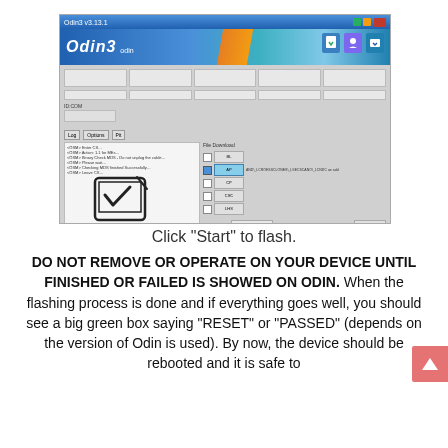[Figure (screenshot): Odin3 flashing software screenshot showing the main interface with file selection panel, log area showing successful flashing messages, a watermark 'A TO Z FLASH FILE' with a checkmark tablet icon, and Start/Reset/Exit buttons at the bottom. The Start button is highlighted with a red border.]
Click "Start" to flash.
DO NOT REMOVE OR OPERATE ON YOUR DEVICE UNTIL FINISHED OR FAILED IS SHOWED ON ODIN. When the flashing process is done and if everything goes well, you should see a big green box saying "RESET" or "PASSED" (depends on the version of Odin is used). By now, the device should be rebooted and it is safe to